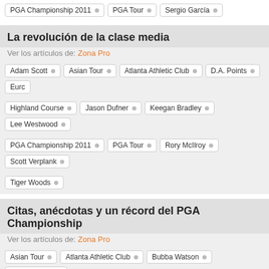PGA Championship 2011 • PGA Tour • Sergio García •
La revolución de la clase media
Ver los artículos de: Zona Pro
Adam Scott • Asian Tour • Atlanta Athletic Club • D.A. Points • Euro
Highland Course • Jason Dufner • Keegan Bradley • Lee Westwood •
PGA Championship 2011 • PGA Tour • Rory McIlroy • Scott Verplank •
Tiger Woods •
Citas, anécdotas y un récord del PGA Championship
Ver los artículos de: Zona Pro
Asian Tour • Atlanta Athletic Club • Bubba Watson • Davis Love III •
Highland Course • Matteo Manassero • Miguel Ángel Jiménez • Padra
PGA Championship • PGA Championship 2011 • PGA Tour • Phil Mick
Rory McIlroy • Ryo Ishikawa • Shaun Micheel • Steve Stricker • Tig
Jiménez muestra el camino a los españoles
Ver los artículos de: Zona Pro
Álvaro Quirós • Asian Tour • Atlanta Athletic Club • European Tour •